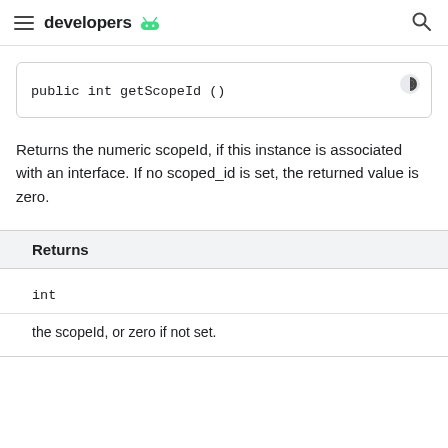developers
Returns the numeric scopeId, if this instance is associated with an interface. If no scoped_id is set, the returned value is zero.
| Returns |
| --- |
| int |
| the scopeId, or zero if not set. |